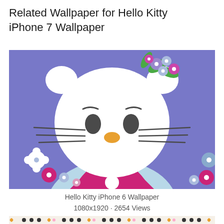Related Wallpaper for Hello Kitty iPhone 7 Wallpaper
[Figure (illustration): Hello Kitty character on purple background with colorful flowers. Close-up of Hello Kitty's face showing white cat face with dark oval eyes, orange nose, whiskers, and a floral headpiece with purple, pink, and blue flowers with green leaves. Pink overalls visible at bottom. Decorative flowers (white, pink, blue) on the purple background.]
Hello Kitty iPhone 6 Wallpaper
1080x1920 · 2654 Views
[Figure (illustration): Partial bottom strip showing a pattern with colorful dots/flowers on a light background — preview of another wallpaper image.]